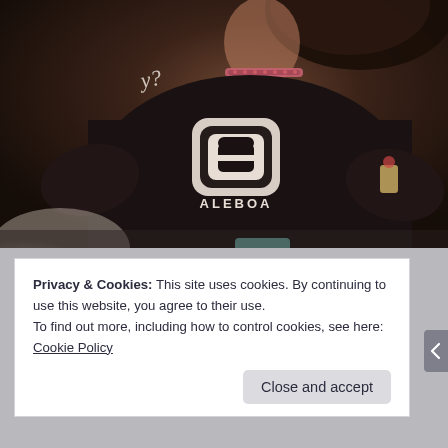[Figure (photo): A person wearing a dark/black Aleboa branded t-shirt with the Aleboa logo (stylized A in a rounded rectangle, with 'ALEBOA' text below). The person is wearing a pink/red choker necklace. The background is dark and warm-toned. There is handwriting 'y?' visible in the upper left area of the image. A light-colored fluffy object is partially visible in the lower left. The person is holding something teal/blue-green.]
Privacy & Cookies: This site uses cookies. By continuing to use this website, you agree to their use.
To find out more, including how to control cookies, see here: Cookie Policy